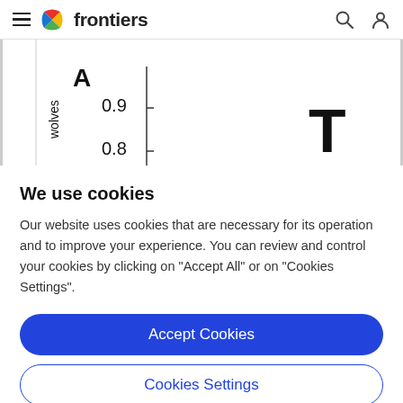frontiers
[Figure (continuous-plot): Partial view of a scientific chart with y-axis labeled 'wolves', showing values 0.9 and 0.8, with a vertical axis line. Large letter 'A' at top left and large letter 'T' at right.]
We use cookies
Our website uses cookies that are necessary for its operation and to improve your experience. You can review and control your cookies by clicking on "Accept All" or on "Cookies Settings".